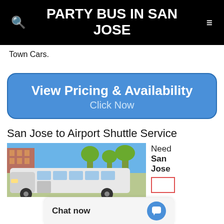PARTY BUS IN SAN JOSE
Town Cars.
[Figure (other): Blue rounded call-to-action button with text 'View Pricing & Availability' and 'Click Now']
San Jose to Airport Shuttle Service
[Figure (photo): Photo of a white party bus/shuttle bus parked outdoors with trees and a brick building in the background]
Need San Jose
[Figure (other): Chat now widget with blue chat icon button]